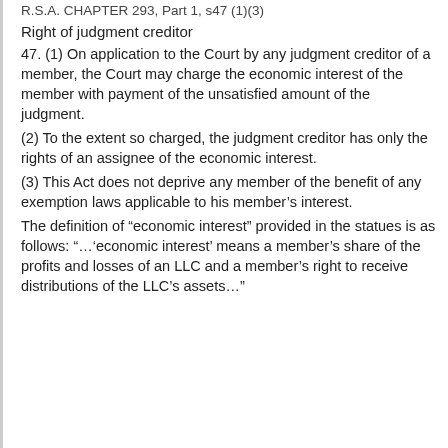R.S.A. CHAPTER 293, Part 1, s47 (1)(3)
Right of judgment creditor
47. (1) On application to the Court by any judgment creditor of a member, the Court may charge the economic interest of the member with payment of the unsatisfied amount of the judgment.
(2) To the extent so charged, the judgment creditor has only the rights of an assignee of the economic interest.
(3) This Act does not deprive any member of the benefit of any exemption laws applicable to his member’s interest.
The definition of “economic interest” provided in the statues is as follows: “…‘economic interest’ means a member’s share of the profits and losses of an LLC and a member’s right to receive distributions of the LLC’s assets…”